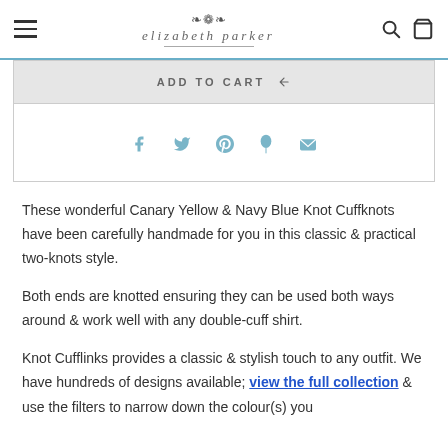elizabeth parker — navigation header with hamburger menu, logo, search and cart icons
[Figure (screenshot): Add to Cart button bar (greyed out) with social sharing icons below: Facebook, Twitter, Pinterest, Fancy, Email]
These wonderful Canary Yellow & Navy Blue Knot Cuffknots have been carefully handmade for you in this classic & practical two-knots style.
Both ends are knotted ensuring they can be used both ways around & work well with any double-cuff shirt.
Knot Cufflinks provides a classic & stylish touch to any outfit. We have hundreds of designs available; view the full collection & use the filters to narrow down the colour(s) you...